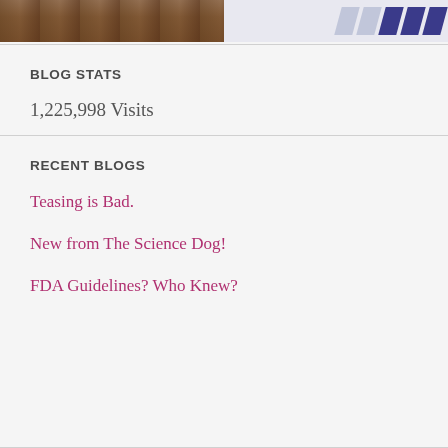[Figure (photo): Top left: photo of dogs (spaniels/similar breed). Top right: decorative striped graphic element on light background.]
BLOG STATS
1,225,998 Visits
RECENT BLOGS
Teasing is Bad.
New from The Science Dog!
FDA Guidelines? Who Knew?